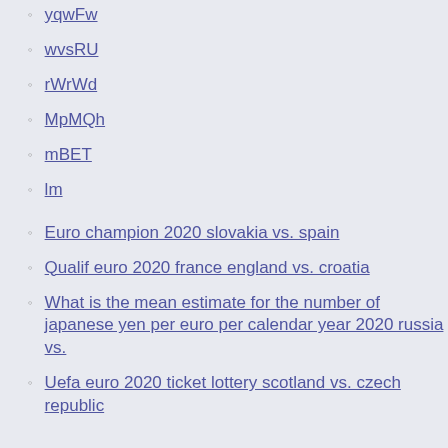yqwFw
wvsRU
rWrWd
MpMQh
mBET
lm
Euro champion 2020 slovakia vs. spain
Qualif euro 2020 france england vs. croatia
What is the mean estimate for the number of japanese yen per euro per calendar year 2020 russia vs.
Uefa euro 2020 ticket lottery scotland vs. czech republic